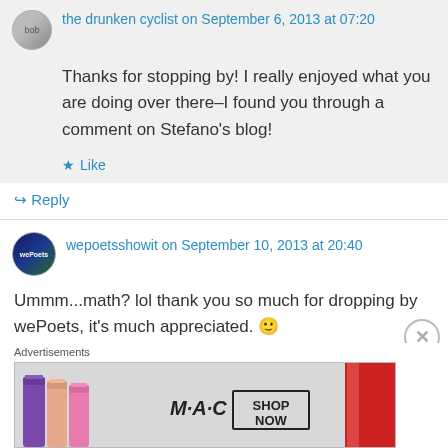the drunken cyclist on September 6, 2013 at 07:20
Thanks for stopping by! I really enjoyed what you are doing over there–I found you through a comment on Stefano's blog!
Like
Reply
wepoetsshowit on September 10, 2013 at 20:40
Ummm...math? lol thank you so much for dropping by wePoets, it's much appreciated. 🙂
Advertisements
[Figure (photo): MAC cosmetics advertisement showing lipsticks with MAC logo and SHOP NOW button]